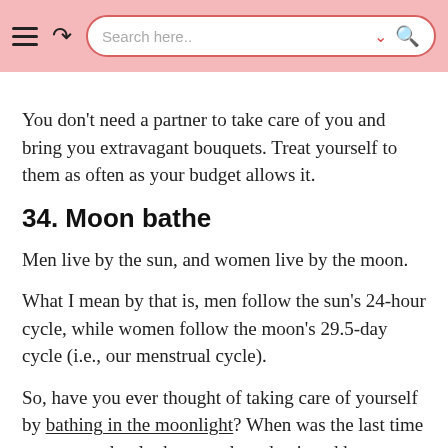Search here..
You don't need a partner to take care of you and bring you extravagant bouquets. Treat yourself to them as often as your budget allows it.
34. Moon bathe
Men live by the sun, and women live by the moon.
What I mean by that is, men follow the sun's 24-hour cycle, while women follow the moon's 29.5-day cycle (i.e., our menstrual cycle).
So, have you ever thought of taking care of yourself by bathing in the moonlight? When was the last time you stopped to look upwards and enjoyed her glorious light?